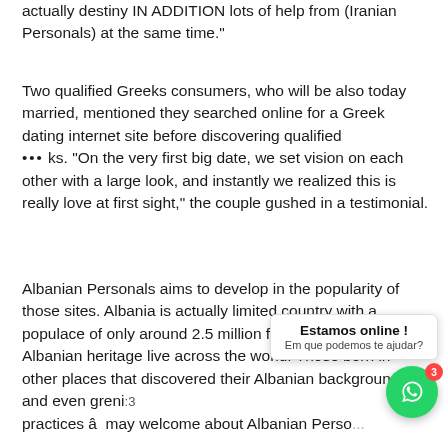actually destiny IN ADDITION lots of help from (Iranian Personals) at the same time."
Two qualified Greeks consumers, who will be also today married, mentioned they searched online for a Greek dating internet site before discovering qualified ... ks. "On the very first big date, we set vision on each other with a large look, and instantly we realized this is really love at first sight," the couple gushed in a testimonial.
Albanian Personals aims to develop in the popularity of those sites. Albania is actually limited country with a populace of only around 2.5 million folks, but singles of Albanian heritage live across the world. Those born in other places that discovered their Albanian background â and even gre ni:3 practices â may welcome about Albanian Perso...